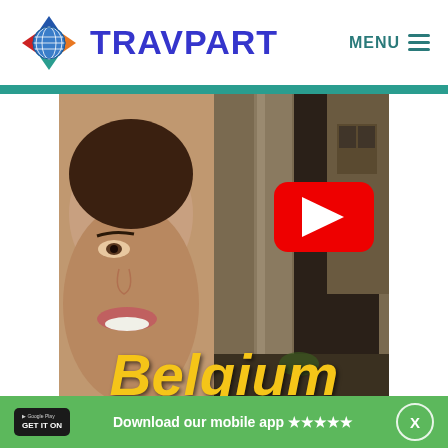[Figure (logo): TRAVPART travel website logo with globe/diamond icon]
MENU ≡
[Figure (screenshot): YouTube-style video thumbnail showing a woman's face on the left and a wooden building/alley on the right, with a red YouTube play button in the center and large bold italic yellow text 'Belgium' at the bottom]
Download our mobile app ★★★★★
X